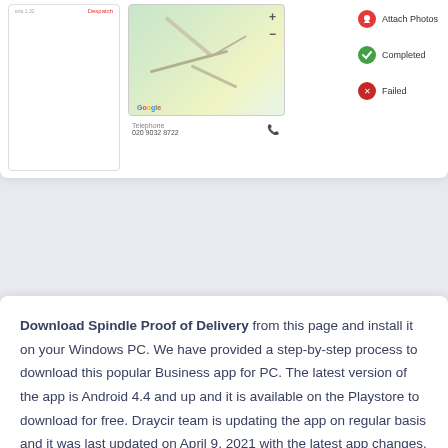[Figure (screenshot): Screenshot of Spindle Proof of Delivery app showing a map view with Google Maps, telephone number 020 9032 8722, and action buttons for Attach Photos, Completed, and Failed on the right side.]
Download Spindle Proof of Delivery from this page and install it on your Windows PC. We have provided a step-by-step process to download this popular Business app for PC. The latest version of the app is Android 4.4 and up and it is available on the Playstore to download for free. Draycir team is updating the app on regular basis and it was last updated on April 9, 2021 with the latest app changes.